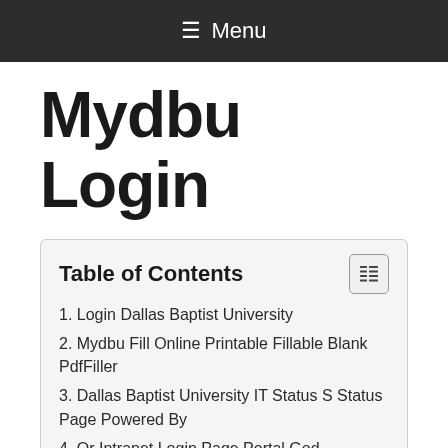≡ Menu
Mydbu Login
Table of Contents
1. Login Dallas Baptist University
2. Mydbu Fill Online Printable Fillable Blank PdfFiller
3. Dallas Baptist University IT Status S Status Page Powered By
4. Qr Intranet Login Page Portal God
5. Online Student Account Center Cashier S Office Dallas Baptist
6. Dallas Baptist University Welcome To The University Housing Portal